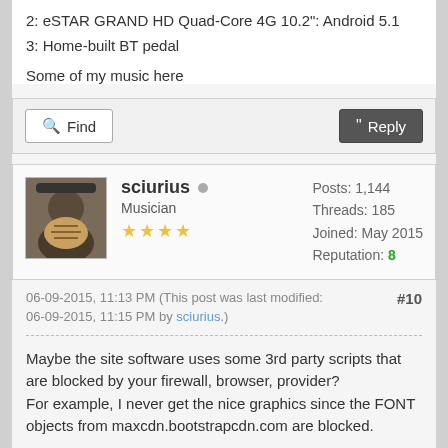2: eSTAR GRAND HD Quad-Core 4G 10.2": Android 5.1
3: Home-built BT pedal
Some of my music here
Find   Reply
sciurius  Musician ★★★★  Posts: 1,144  Threads: 185  Joined: May 2015  Reputation: 8
06-09-2015, 11:13 PM (This post was last modified: 06-09-2015, 11:15 PM by sciurius.)  #10
Maybe the site software uses some 3rd party scripts that are blocked by your firewall, browser, provider?
For example, I never get the nice graphics since the FONT objects from maxcdn.bootstrapcdn.com are blocked.